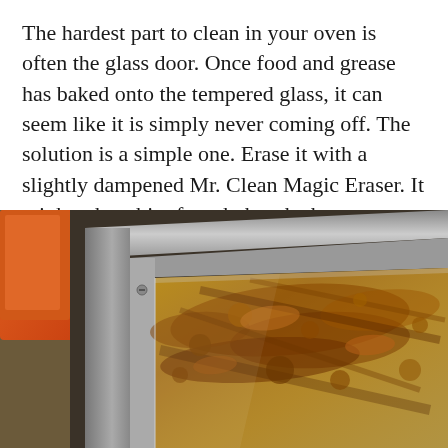The hardest part to clean in your oven is often the glass door. Once food and grease has baked onto the tempered glass, it can seem like it is simply never coming off. The solution is a simple one. Erase it with a slightly dampened Mr. Clean Magic Eraser. It might take a bit of work, but the brown residue should scrub right off.
[Figure (photo): Close-up photograph of a dirty oven glass door viewed from an angle, showing brown and orange baked-on grease and food residue on the tempered glass surface. The metallic frame of the oven door is visible around the glass, and an orange/red item is partially visible in the upper left background.]